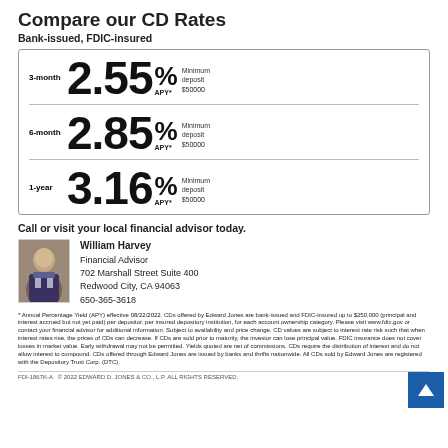Compare our CD Rates
Bank-issued, FDIC-insured
| Term | Rate | APY | Minimum deposit |
| --- | --- | --- | --- |
| 3-month | 2.55 | % | $50000 |
| 6-month | 2.85 | % | $50000 |
| 1-year | 3.16 | % | $50000 |
Call or visit your local financial advisor today.
[Figure (photo): Photo of William Harvey, Financial Advisor]
William Harvey
Financial Advisor
702 Marshall Street Suite 400
Redwood City, CA 94063
650-365-3618
* Annual Percentage Yield (APY) effective 08/22/2022. CDs offered by Edward Jones are bank-issued and FDIC-insured up to $250,000 (principal and interest accrued but not yet paid) per depositor, per insured depository institution, for each account ownership category. Please visit www.fdic.gov or contact your financial advisor for additional information. Subject to availability and price change. CD values are subject to interest rate risk such that when interest rates rise, the prices of CDs can decrease. If CDs are sold prior to maturity, the investor can lose principal value. FDIC insurance does not cover losses in market value. Early withdrawal may not be permitted. Yields quoted are net of commissions. CDs require the distribution of interest and do not allow interest to compound. CDs offered through Edward Jones are issued by banks and thrifts nationwide. All CDs sold by Edward Jones are registered with the Depository Trust Corp. (DTC).
FDI-1867K-A  © 2022 EDWARD D. JONES & CO., L.P. ALL RIGHTS RESERVED.